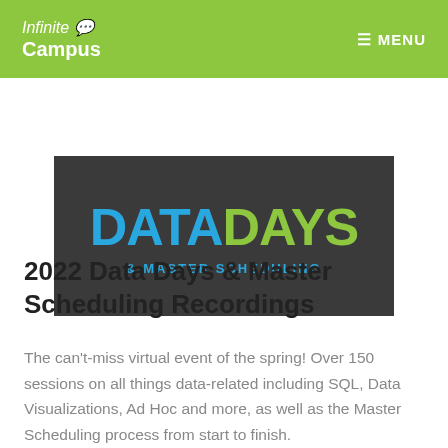Infinite Campus  MENU
[Figure (illustration): Data Days & Master Scheduling banner with dark background. 'DATA' in blue and 'DAYS' in green large bold text, with '& MASTER SCHEDULING' subtitle in blue below.]
2022 Data Days & Master Scheduling Recordings
The can't-miss virtual event of the spring! Over 150 sessions on all things data-related including SQL, Data Visualizations, Ad Hoc and more, as well as the Master Scheduling process from start to finish.